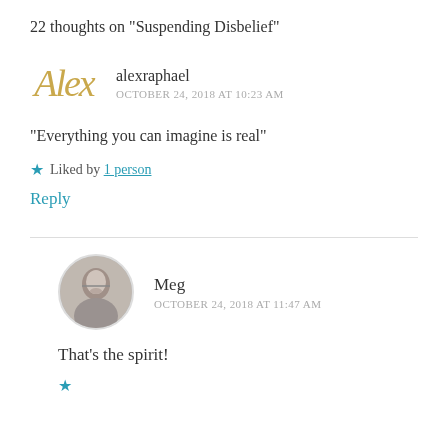22 thoughts on “Suspending Disbelief”
alexraphael
OCTOBER 24, 2018 AT 10:23 AM
“Everything you can imagine is real”
★ Liked by 1 person
Reply
Meg
OCTOBER 24, 2018 AT 11:47 AM
That’s the spirit!